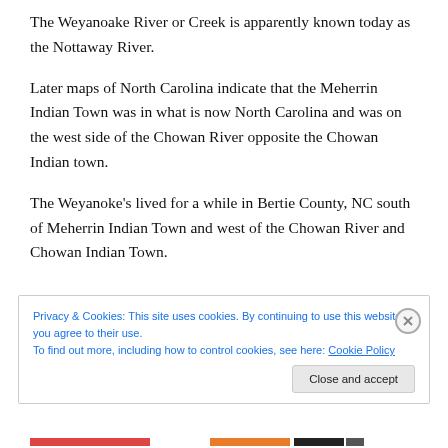The Weyanoake River or Creek is apparently known today as the Nottaway River.
Later maps of North Carolina indicate that the Meherrin Indian Town was in what is now North Carolina and was on the west side of the Chowan River opposite the Chowan Indian town.
The Weyanoke's lived for a while in Bertie County, NC south of Meherrin Indian Town and west of the Chowan River and Chowan Indian Town.
Privacy & Cookies: This site uses cookies. By continuing to use this website, you agree to their use.
To find out more, including how to control cookies, see here: Cookie Policy